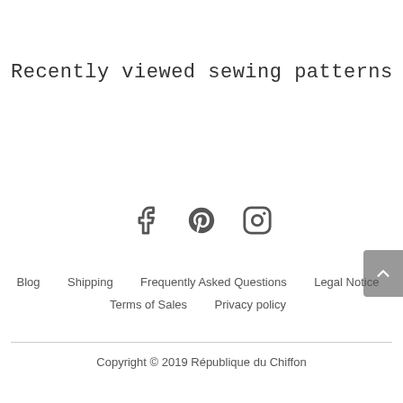Recently viewed sewing patterns
[Figure (infographic): Social media icons: Facebook, Pinterest, Instagram]
Blog  Shipping  Frequently Asked Questions  Legal Notice  Terms of Sales  Privacy policy
Copyright © 2019 République du Chiffon